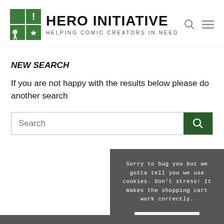[Figure (logo): Hero Initiative logo with green comic-style icon and bold text 'HERO INITIATIVE' with tagline 'HELPING COMIC CREATORS IN NEED']
NEW SEARCH
If you are not happy with the results below please do another search
Search [input field with green search button]
Sorry to bug you but we gotta tell you we use cookies. Don't stress! It makes the shopping cart work correctly.
OK